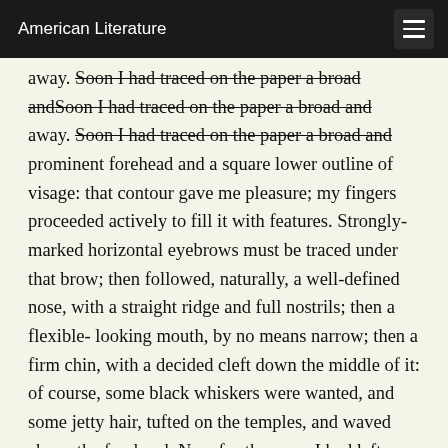American Literature
away. Soon I had traced on the paper a broad and prominent forehead and a square lower outline of visage: that contour gave me pleasure; my fingers proceeded actively to fill it with features. Strongly-marked horizontal eyebrows must be traced under that brow; then followed, naturally, a well-defined nose, with a straight ridge and full nostrils; then a flexible- looking mouth, by no means narrow; then a firm chin, with a decided cleft down the middle of it: of course, some black whiskers were wanted, and some jetty hair, tufted on the temples, and waved above the forehead. Now for the eyes: I had left them to the last, because they required the most careful working. I drew them large; I shaped them